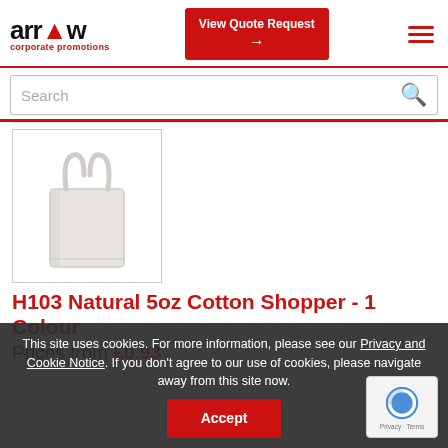arrow corporate promotions
View Quote Request
Search
[Figure (photo): Natural cotton shopper bag with long handles, cream/white color, shown on white background]
H103 Natural 5oz Cotton Shopper - 1 Colour
Prices from £0.93
This site uses cookies. For more information, please see our Privacy and Cookie Notice. If you don't agree to our use of cookies, please navigate away from this site now.
Accept